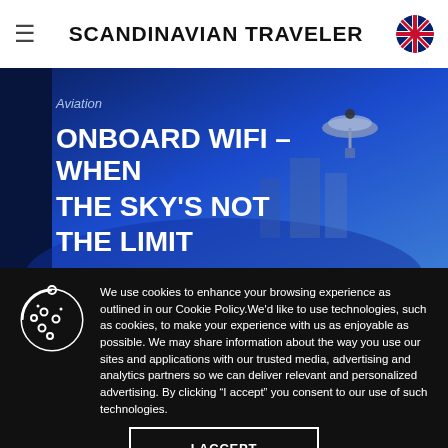SCANDINAVIAN TRAVELER
[Figure (illustration): Hero banner with blue gradient background showing illustration of satellite/wifi dish and city buildings, with category label 'Aviation' and headline 'ONBOARD WIFI – WHEN THE SKY'S NOT THE LIMIT']
We use cookies to enhance your browsing experience as outlined in our Cookie Policy. We'd like to use technologies, such as cookies, to make your experience with us as enjoyable as possible. We may share information about the way you use our sites and applications with our trusted media, advertising and analytics partners so we can deliver relevant and personalized advertising. By clicking "I accept" you consent to our use of such technologies.
I ACCEPT